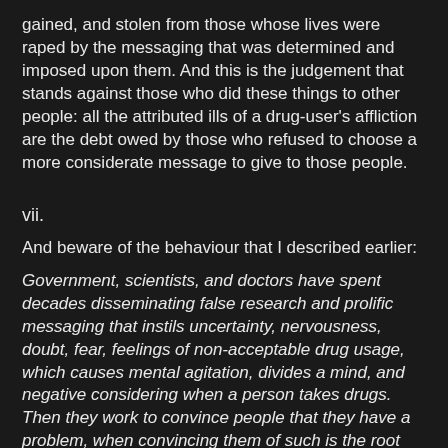gained, and stolen from those whose lives were raped by the messaging that was determined and imposed upon them. And this is the judgement that stands against those who did these things to other people: all the attributed ills of a drug-user's affliction are the debt owed by those who refused to choose a more considerate message to give to those people.
vii.
And beware of the behaviour that I described earlier:
Government, scientists, and doctors have spent decades disseminating false research and prolific messaging that instils uncertainty, nervousness, doubt, fear, feelings of non-acceptable drug usage, which causes mental agitation, divides a mind, and negative considering when a person takes drugs.  Then they work to convince people that they have a problem, when convincing them of such is the root cause of behaviour that is problematic.  Then they use the